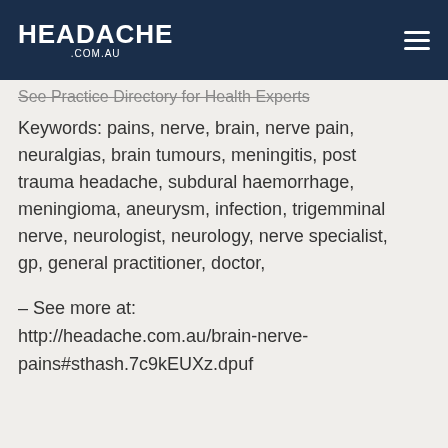HEADACHE .COM.AU
See Practice Directory for Health Experts
Keywords: pains, nerve, brain, nerve pain, neuralgias, brain tumours, meningitis, post trauma headache, subdural haemorrhage, meningioma, aneurysm, infection, trigemminal nerve, neurologist, neurology, nerve specialist, gp, general practitioner, doctor,
– See more at: http://headache.com.au/brain-nerve-pains#sthash.7c9kEUXz.dpuf